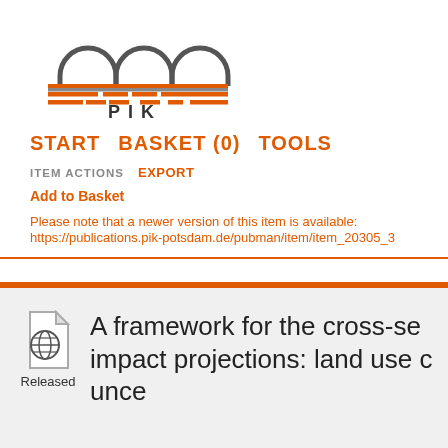[Figure (logo): PIK Potsdam Institute for Climate Impact Research logo — three arched shapes in dark grey over horizontal orange and grey stripes, with 'PIK' text below]
START   BASKET (0)   TOOLS
ITEM ACTIONS   EXPORT
Add to Basket
Please note that a newer version of this item is available:
https://publications.pik-potsdam.de/pubman/item/item_20305_3
[Figure (other): Document card with globe/file icon labelled 'Released' and partial title text: 'A framework for the cross-se... impact projections: land use c... unce...']
A framework for the cross-se
impact projections: land use c
unce